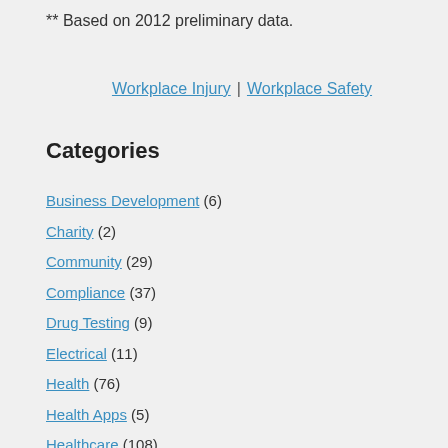** Based on 2012 preliminary data.
Workplace Injury | Workplace Safety
Categories
Business Development (6)
Charity (2)
Community (29)
Compliance (37)
Drug Testing (9)
Electrical (11)
Health (76)
Health Apps (5)
Healthcare (108)
Healthy Eating (37)
In the Community (1)
Industrial Medicine (38)
Infographic (6)
Injury Recovery (19)
Leisure (22)